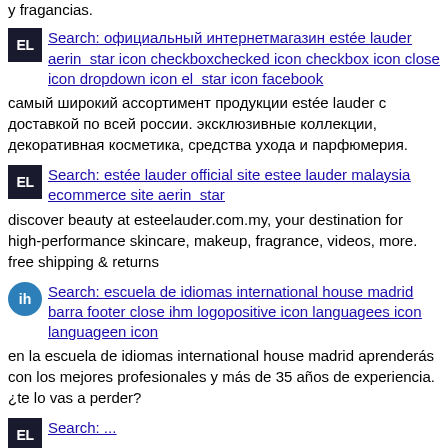y fragancias.
Search: официальный интернетмагазин estée lauder aerin  star icon checkboxchecked icon checkbox icon close icon dropdown icon el  star icon facebook
самый широкий ассортимент продукции estée lauder с доставкой по всей россии. эксклюзивные коллекции, декоративная косметика, средства ухода и парфюмерия.
Search: estée lauder official site estee lauder malaysia ecommerce site aerin  star
discover beauty at esteelauder.com.my, your destination for high-performance skincare, makeup, fragrance, videos, more. free shipping & returns
Search: escuela de idiomas international house madrid barra footer close ihm logopositive icon languagees icon languageen icon
en la escuela de idiomas international house madrid aprenderás con los mejores profesionales y más de 35 años de experiencia. ¿te lo vas a perder?
Search: ...